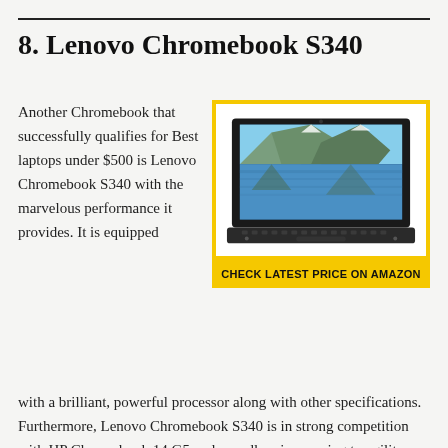8. Lenovo Chromebook S340
Another Chromebook that successfully qualifies for Best laptops under $500 is Lenovo Chromebook S340 with the marvelous performance it provides. It is equipped with a brilliant, powerful processor along with other specifications. Furthermore, Lenovo Chromebook S340 is in strong competition with HP Chromebook 14 G5 and proudly wins owning to agility.
[Figure (photo): Lenovo Chromebook S340 laptop with a mountain lake wallpaper displayed on screen, shown in a yellow border box with a CHECK LATEST PRICE ON AMAZON button below]